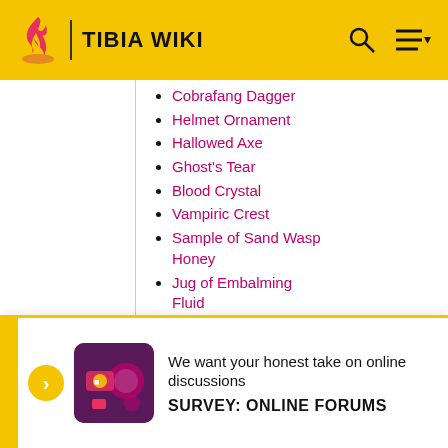TIBIA WIKI
Cobrafang Dagger
Helmet Ornament
Hallowed Axe
Ghost's Tear
Blood Crystal
Vampiric Crest
Sample of Sand Wasp Honey
Jug of Embalming Fluid
Sample of Venorean Spice
Animal Cure
Ghost Charm
Helmet (Morik)
We want your honest take on online discussions
SURVEY: ONLINE FORUMS